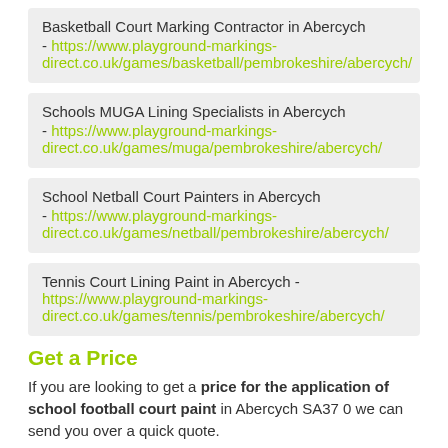Basketball Court Marking Contractor in Abercych - https://www.playground-markings-direct.co.uk/games/basketball/pembrokeshire/abercych/
Schools MUGA Lining Specialists in Abercych - https://www.playground-markings-direct.co.uk/games/muga/pembrokeshire/abercych/
School Netball Court Painters in Abercych - https://www.playground-markings-direct.co.uk/games/netball/pembrokeshire/abercych/
Tennis Court Lining Paint in Abercych - https://www.playground-markings-direct.co.uk/games/tennis/pembrokeshire/abercych/
Get a Price
If you are looking to get a price for the application of school football court paint in Abercych SA37 0 we can send you over a quick quote.